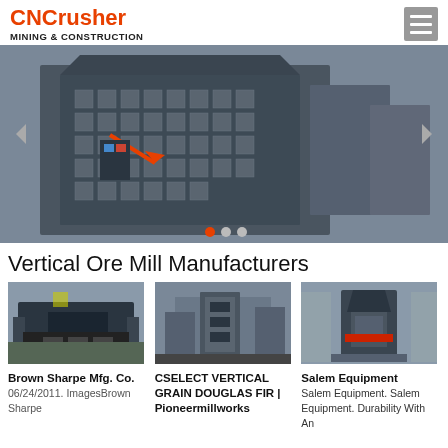CNCrusher MINING & CONSTRUCTION
[Figure (photo): Hero image showing large industrial impact crusher machines in a factory/warehouse setting, multiple machines lined up, with red navigation arrows and dot indicator]
Vertical Ore Mill Manufacturers
[Figure (photo): Brown Sharpe Mfg. Co. - industrial mill equipment on tracks outdoors]
Brown Sharpe Mfg. Co.
06/24/2011. ImagesBrown Sharpe
[Figure (photo): CSELECT VERTICAL GRAIN DOUGLAS FIR | Pioneermillworks - industrial vertical grain milling equipment inside factory]
CSELECT VERTICAL GRAIN DOUGLAS FIR | Pioneermillworks
[Figure (photo): Salem Equipment - large industrial cone crusher machine inside warehouse with red accent]
Salem Equipment
Salem Equipment. Salem Equipment. Durability With An